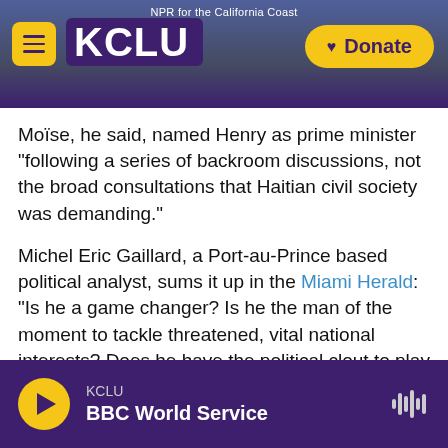[Figure (screenshot): KCLU NPR radio station website header with logo, hamburger menu, and yellow Donate button. Background shows California coastal scenery. Text reads 'NPR for the California Coast'.]
Moïse, he said, named Henry as prime minister "following a series of backroom discussions, not the broad consultations that Haitian civil society was demanding."
Michel Eric Gaillard, a Port-au-Prince based political analyst, sums it up in the Miami Herald: "Is he a game changer? Is he the man of the moment to tackle threatened, vital national interests? Does he have the political clout to play the role of a neutral broker? Can he exercise leadership in a captured state?"
[Figure (screenshot): Audio player bar at bottom showing KCLU BBC World Service with yellow play button and waveform icon on dark purple background.]